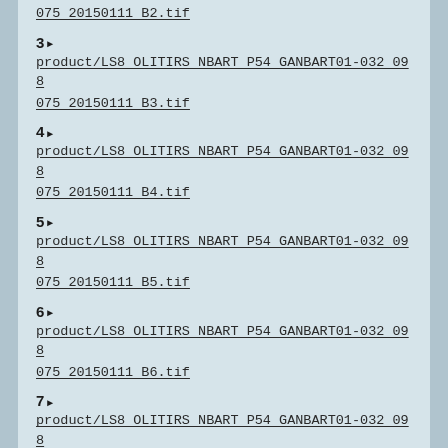product/LS8 OLITIRS NBART P54 GANBART01-032 098 075 20150111 B2.tif
3▶
product/LS8 OLITIRS NBART P54 GANBART01-032 098 075 20150111 B3.tif
4▶
product/LS8 OLITIRS NBART P54 GANBART01-032 098 075 20150111 B4.tif
5▶
product/LS8 OLITIRS NBART P54 GANBART01-032 098 075 20150111 B5.tif
6▶
product/LS8 OLITIRS NBART P54 GANBART01-032 098 075 20150111 B6.tif
7▶
product/LS8 OLITIRS NBART P54 GANBART01-032 098 075 20150111 B7.tif